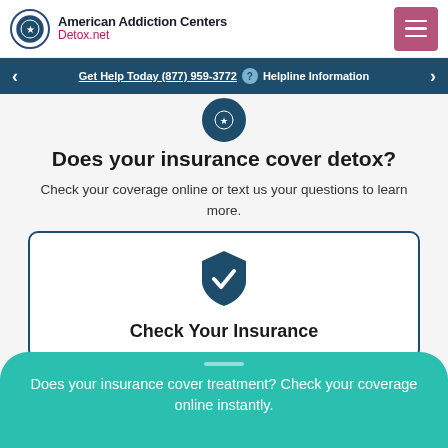American Addiction Centers Detox.net
Get Help Today (877) 959-3772  Helpline Information
Does your insurance cover detox?
Check your coverage online or text us your questions to learn more.
Check Your Insurance
Does your insurance cover treatment? Check your coverage online instantly.